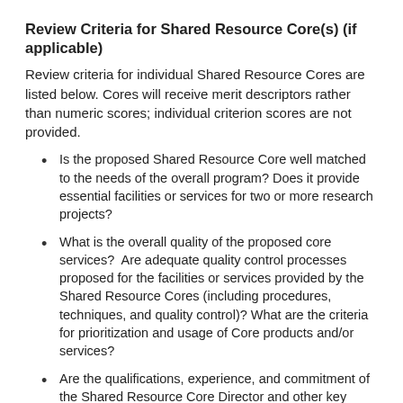Review Criteria for Shared Resource Core(s) (if applicable)
Review criteria for individual Shared Resource Cores are listed below. Cores will receive merit descriptors rather than numeric scores; individual criterion scores are not provided.
Is the proposed Shared Resource Core well matched to the needs of the overall program? Does it provide essential facilities or services for two or more research projects?
What is the overall quality of the proposed core services?  Are adequate quality control processes proposed for the facilities or services provided by the Shared Resource Cores (including procedures, techniques, and quality control)? What are the criteria for prioritization and usage of Core products and/or services?
Are the qualifications, experience, and commitment of the Shared Resource Core Director and other key personnel adequate and appropriate for providing the proposed facilities or services?